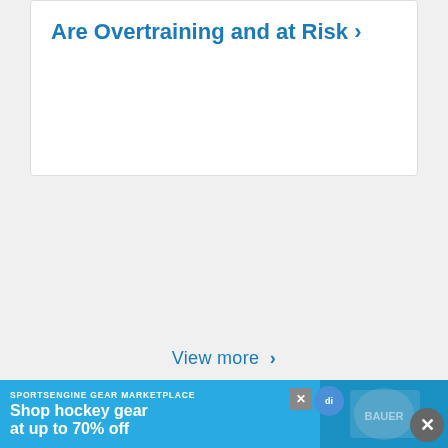Are Overtraining and at Risk ›
View more ›
Get the Gold Standard of Background Checks
Protect your athletes, families, and organization with industry-leading background checks from the National Center for Safety Initiatives
[Figure (infographic): SportsEngine Gear Marketplace advertisement banner: 'Shop hockey gear at up to 70% off' with hockey equipment imagery and Bauer branding on blue background]